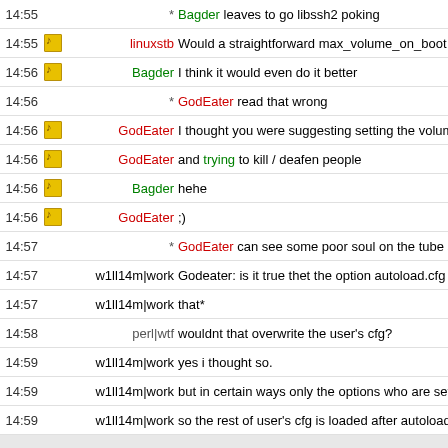14:55 * Bagder leaves to go libssh2 poking
14:55 [icon] linuxstb Would a straightforward max_volume_on_boot setting do th
14:56 [icon] Bagder I think it would even do it better
14:56 * GodEater read that wrong
14:56 [icon] GodEater I thought you were suggesting setting the volume to maximu
14:56 [icon] GodEater and trying to kill / deafen people
14:56 [icon] Bagder hehe
14:56 [icon] GodEater ;)
14:57 * GodEater can see some poor soul on the tube statino platfor
14:57 w1ll14m|work Godeater: is it true thet the option autoload.cfg has been inp
14:57 w1ll14m|work that*
14:58 perl|wtf wouldnt that overwrite the user's cfg?
14:59 w1ll14m|work yes i thought so.
14:59 w1ll14m|work but in certain ways only the options who are set in autoload.
14:59 w1ll14m|work so the rest of user's cfg is loaded after autoload
15:00 perl|wtf unles it's some sort of first_boot.cfg
15:00 w1ll14m|work that's the idea
15:01 [icon] pixelma no - only saving the settings has been moved to a textfile ins
15:01 w1ll14m|work it's preloaded before user's cfg because of the volume and so
15:01 perl|wtf w1ll14m|work yeah but even if it's one setting that gets over
15:02 [icon] pixelma for the user there's no noticable difference
15:03 w1ll14m|work i've read about this option before but i want to know if it has
15:18 Soap If I set up a .torrent tracker for the Elephant's Dream encode